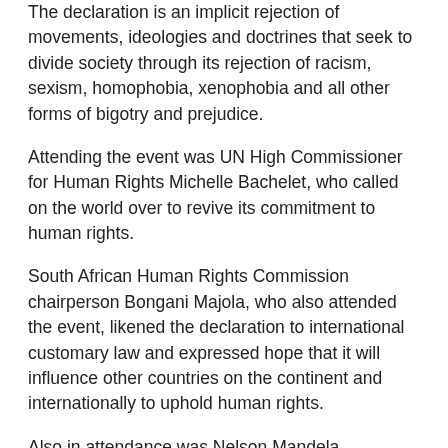The declaration is an implicit rejection of movements, ideologies and doctrines that seek to divide society through its rejection of racism, sexism, homophobia, xenophobia and all other forms of bigotry and prejudice.
Attending the event was UN High Commissioner for Human Rights Michelle Bachelet, who called on the world over to revive its commitment to human rights.
South African Human Rights Commission chairperson Bongani Majola, who also attended the event, likened the declaration to international customary law and expressed hope that it will influence other countries on the continent and internationally to uphold human rights.
Also in attendance was Nelson Mandela Foundation CEO Sello Hatang, who highlighted that human rights must be for the benefit of everyone, particularly the marginalised.
“As we mark the 70th anniversary of the Universal Declaration of Human Right, the rights of Michael Komape and Viwe Jali, who lost their live while making use of a pit latrine as a result